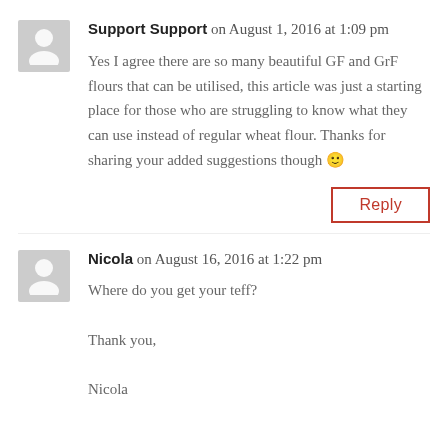Support Support on August 1, 2016 at 1:09 pm
Yes I agree there are so many beautiful GF and GrF flours that can be utilised, this article was just a starting place for those who are struggling to know what they can use instead of regular wheat flour. Thanks for sharing your added suggestions though 🙂
Reply
Nicola on August 16, 2016 at 1:22 pm
Where do you get your teff?

Thank you,

Nicola